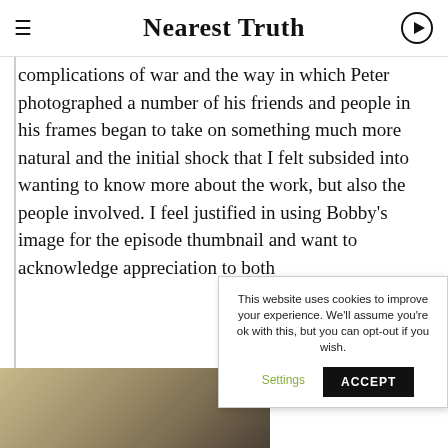Nearest Truth
complications of war and the way in which Peter photographed a number of his friends and people in his frames began to take on something much more natural and the initial shock that I felt subsided into wanting to know more about the work, but also the people involved. I feel justified in using Bobby's image for the episode thumbnail and want to acknowledge appreciation to both
[Figure (photo): Partial view of a light-colored furry animal or fur texture at the bottom left of the page]
This website uses cookies to improve your experience. We'll assume you're ok with this, but you can opt-out if you wish. Settings ACCEPT